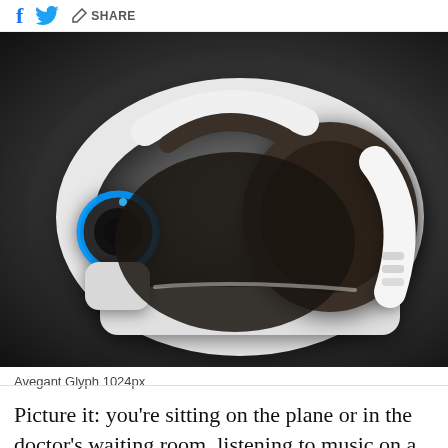f [twitter bird] / SHARE
[Figure (photo): Avegant Glyph headset/headphone device — a white and dark brown VR/media viewer headset shown from a three-quarter angle on a dark gray background]
Avegant Glyph 1024px
Picture it: you're sitting on the plane or in the doctor's waiting room, listening to music on a large